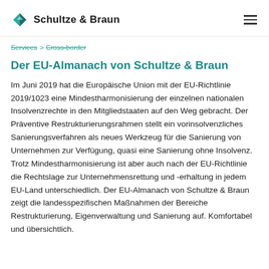Schultze & Braun
Services > Cross-border
Der EU-Almanach von Schultze & Braun
Im Juni 2019 hat die Europäische Union mit der EU-Richtlinie 2019/1023 eine Mindestharmonisierung der einzelnen nationalen Insolvenzrechte in den Mitgliedstaaten auf den Weg gebracht. Der Präventive Restrukturierungsrahmen stellt ein vorinsolvenzliches Sanierungsverfahren als neues Werkzeug für die Sanierung von Unternehmen zur Verfügung, quasi eine Sanierung ohne Insolvenz. Trotz Mindestharmonisierung ist aber auch nach der EU-Richtlinie die Rechtslage zur Unternehmensrettung und -erhaltung in jedem EU-Land unterschiedlich. Der EU-Almanach von Schultze & Braun zeigt die landesspezifischen Maßnahmen der Bereiche Restrukturierung, Eigenverwaltung und Sanierung auf. Komfortabel und übersichtlich.